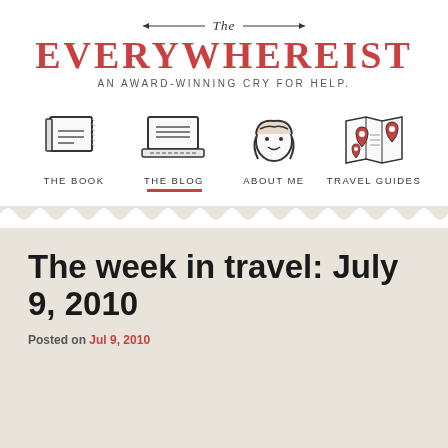The EVERYWHEREIST — AN AWARD-WINNING CRY FOR HELP.
[Figure (logo): The Everywhereist blog logo with decorative horizontal rules and italic 'The' above the large red brand name]
[Figure (infographic): Four navigation icons: a book (THE BOOK), a laptop (THE BLOG, active with red underline), a girl face (ABOUT ME), and a travel map (TRAVEL GUIDES)]
The week in travel: July 9, 2010
Posted on Jul 9, 2010